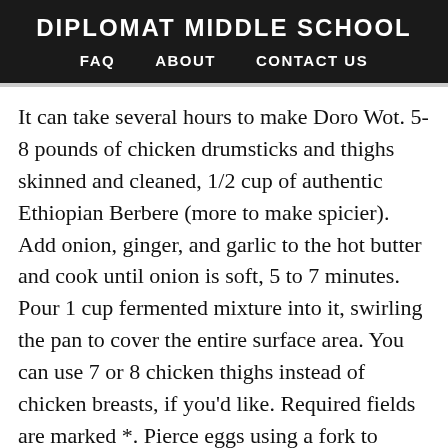DIPLOMAT MIDDLE SCHOOL
FAQ   ABOUT   CONTACT US
It can take several hours to make Doro Wot. 5-8 pounds of chicken drumsticks and thighs skinned and cleaned, 1/2 cup of authentic Ethiopian Berbere (more to make spicier). Add onion, ginger, and garlic to the hot butter and cook until onion is soft, 5 to 7 minutes. Pour 1 cup fermented mixture into it, swirling the pan to cover the entire surface area. You can use 7 or 8 chicken thighs instead of chicken breasts, if you'd like. Required fields are marked *. Pierce eggs using a fork to allow sauce to seep in. Let us know if you have any questions, and